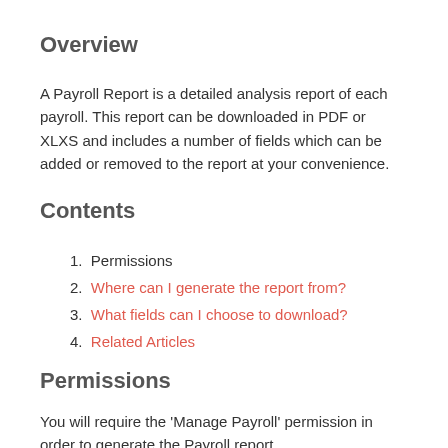Overview
A Payroll Report is a detailed analysis report of each payroll. This report can be downloaded in PDF or XLXS and includes a number of fields which can be added or removed to the report at your convenience.
Contents
1. Permissions
2. Where can I generate the report from?
3. What fields can I choose to download?
4. Related Articles
Permissions
You will require the 'Manage Payroll' permission in order to generate the Payroll report.